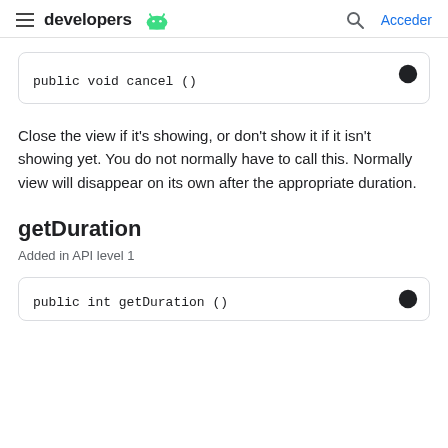developers — Acceder
Close the view if it's showing, or don't show it if it isn't showing yet. You do not normally have to call this. Normally view will disappear on its own after the appropriate duration.
getDuration
Added in API level 1